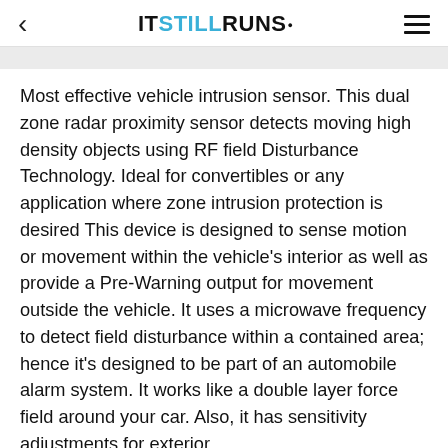< ITSTILLRUNS. ≡
Most effective vehicle intrusion sensor. This dual zone radar proximity sensor detects moving high density objects using RF field Disturbance Technology. Ideal for convertibles or any application where zone intrusion protection is desired This device is designed to sense motion or movement within the vehicle's interior as well as provide a Pre-Warning output for movement outside the vehicle. It uses a microwave frequency to detect field disturbance within a contained area; hence it's designed to be part of an automobile alarm system. It works like a double layer force field around your car. Also, it has sensitivity adjustments for exterior